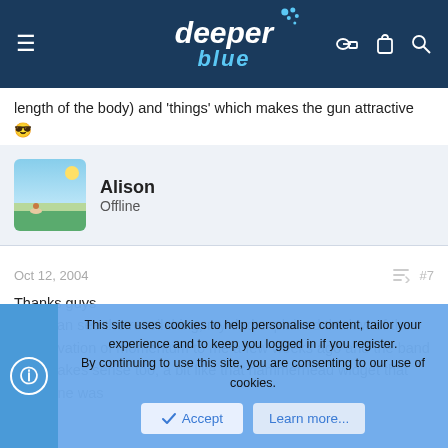deeper blue
length of the body) and 'things' which makes the gun attractive 😎
Alison
Offline
Oct 12, 2004  #7
Thanks guys
Yes I can see the recoil thing, my dad explained the law of the conservation of momentum to me a few weeks ago and the band lifter makes sense too, a bit like that hammerhead widget that someone was
This site uses cookies to help personalise content, tailor your experience and to keep you logged in if you register.
By continuing to use this site, you are consenting to our use of cookies.
Accept   Learn more...